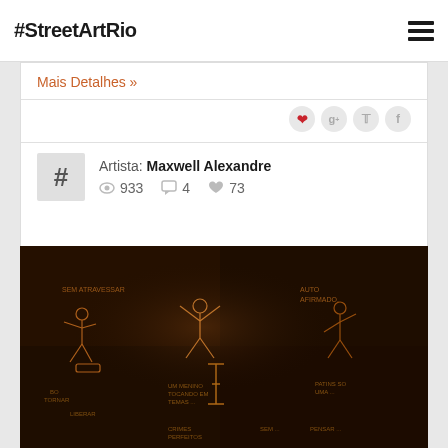#StreetArtRio
Mais Detalhes »
Artista: Maxwell Alexandre  933  4  73
[Figure (photo): Street art mural by Maxwell Alexandre showing line-drawn figures with Portuguese text labels on a dark brown/black wall background]